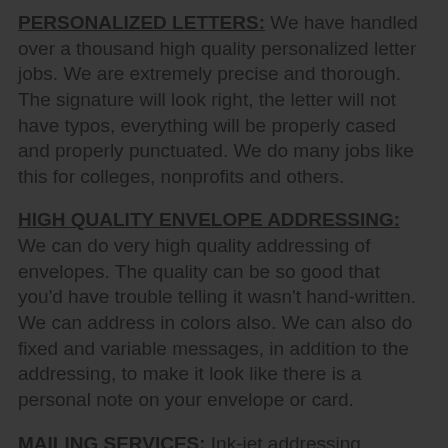PERSONALIZED LETTERS: We have handled over a thousand high quality personalized letter jobs. We are extremely precise and thorough. The signature will look right, the letter will not have typos, everything will be properly cased and properly punctuated. We do many jobs like this for colleges, nonprofits and others.
HIGH QUALITY ENVELOPE ADDRESSING: We can do very high quality addressing of envelopes. The quality can be so good that you'd have trouble telling it wasn't hand-written. We can address in colors also. We can also do fixed and variable messages, in addition to the addressing, to make it look like there is a personal note on your envelope or card.
MAILING SERVICES: Ink-jet addressing, inserting by machine and hand, postal presorting for lower postal rates, metering, tabbing, stamping, labeling,